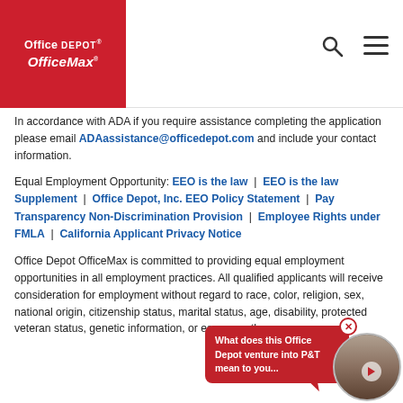Office Depot OfficeMax
In accordance with ADA if you require assistance completing the application please email ADAassistance@officedepot.com and include your contact information.
Equal Employment Opportunity: EEO is the law | EEO is the law Supplement | Office Depot, Inc. EEO Policy Statement | Pay Transparency Non-Discrimination Provision | Employee Rights under FMLA | California Applicant Privacy Notice
Office Depot OfficeMax is committed to providing equal employment opportunities in all employment practices. All qualified applicants will receive consideration for employment without regard to race, color, religion, sex, national origin, citizenship status, marital status, age, disability, protected veteran status, genetic information, or any other characteristic protected by law, and to provide reasonable accommodation for employees and applicants with disabilities and veterans through applicant and employment and any other...
[Figure (other): Video tooltip overlay showing a red speech bubble with text 'What does this Office Depot venture into P&T mean to you...' and a circular video thumbnail of a person, with a close (X) button.]